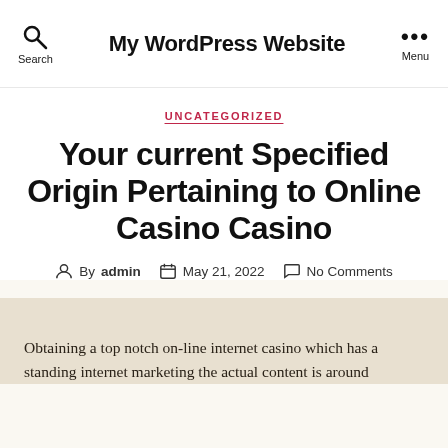My WordPress Website
UNCATEGORIZED
Your current Specified Origin Pertaining to Online Casino Casino
By admin  May 21, 2022  No Comments
Obtaining a top notch on-line internet casino which has a standing internet marketing the actual content is around